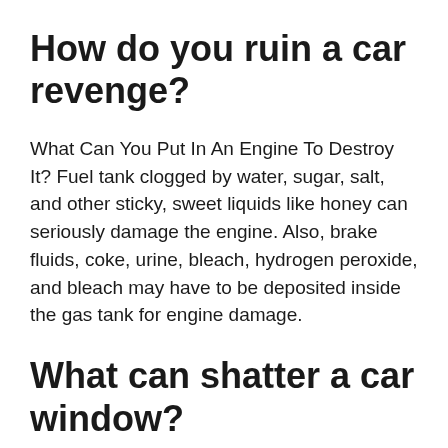How do you ruin a car revenge?
What Can You Put In An Engine To Destroy It? Fuel tank clogged by water, sugar, salt, and other sticky, sweet liquids like honey can seriously damage the engine. Also, brake fluids, coke, urine, bleach, hydrogen peroxide, and bleach may have to be deposited inside the gas tank for engine damage.
What can shatter a car window?
Considerable stress can build around chips,